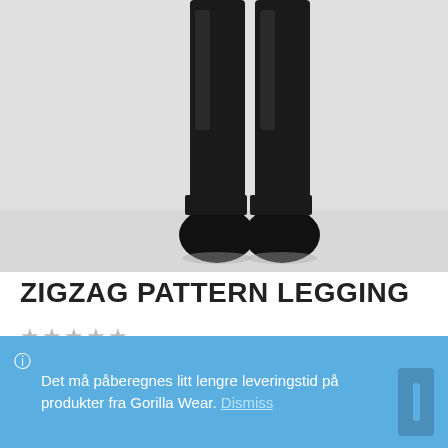[Figure (photo): Close-up photo of legs wearing black zigzag pattern leggings with black boots/shoes, against a light background]
ZIGZAG PATTERN LEGGING
★★★★★ (star rating, all grey/unrated)
ℹ Det må påberegnes litt lengre leveringstid på produkter fra Gorilla Wear. Dismiss